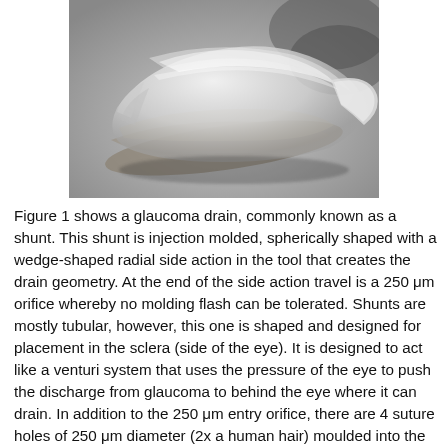[Figure (photo): A photograph of a glaucoma drain (shunt) — a clear, translucent, spherically shaped injection-molded medical device with multiple curved laminar layers visible, against a gray background.]
Figure 1 shows a glaucoma drain, commonly known as a shunt. This shunt is injection molded, spherically shaped with a wedge-shaped radial side action in the tool that creates the drain geometry. At the end of the side action travel is a 250 μm orifice whereby no molding flash can be tolerated. Shunts are mostly tubular, however, this one is shaped and designed for placement in the sclera (side of the eye). It is designed to act like a venturi system that uses the pressure of the eye to push the discharge from glaucoma to behind the eye where it can drain. In addition to the 250 μm entry orifice, there are 4 suture holes of 250 μm diameter (2x a human hair) moulded into the top of the implant. The suture holes also must be free of any flash...